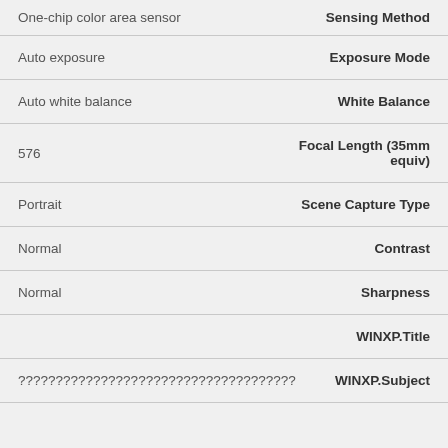| Value | Field |
| --- | --- |
| One-chip color area sensor | Sensing Method |
| Auto exposure | Exposure Mode |
| Auto white balance | White Balance |
| 576 | Focal Length (35mm equiv) |
| Portrait | Scene Capture Type |
| Normal | Contrast |
| Normal | Sharpness |
|  | WINXP.Title |
| ????????????????????????????????????? | WINXP.Subject |